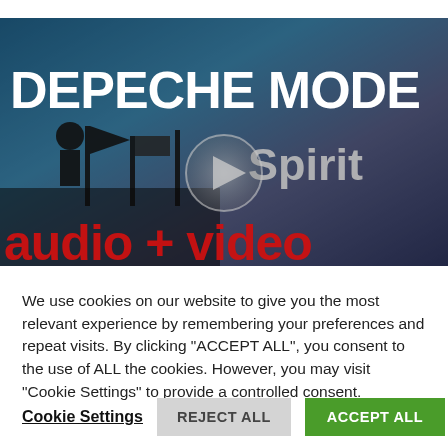[Figure (screenshot): Video thumbnail showing Depeche Mode Spirit audio and video promotional image with dark blue background, large white bold text 'DEPECHE MODE', grey italic text 'Spirit', red bold text 'audio + video', a play button circle in center, and silhouettes of figures with flags on the left]
We use cookies on our website to give you the most relevant experience by remembering your preferences and repeat visits. By clicking "ACCEPT ALL", you consent to the use of ALL the cookies. However, you may visit "Cookie Settings" to provide a controlled consent.
Cookie Settings   REJECT ALL   ACCEPT ALL